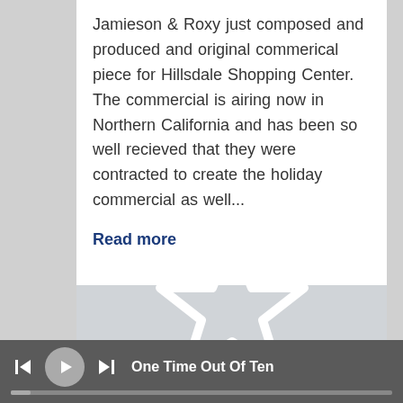Jamieson & Roxy just composed and produced and original commerical piece for Hillsdale Shopping Center. The commercial is airing now in Northern California and has been so well recieved that they were contracted to create the holiday commercial as well...
Read more
[Figure (illustration): Gray placeholder image with a white star outline in the center]
One Time Out Of Ten